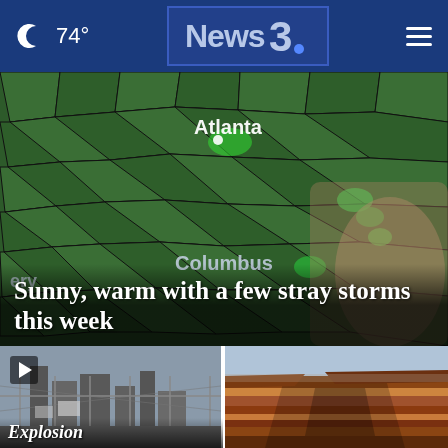🌙 74° | News3 | ☰
[Figure (map): Weather radar map showing the Atlanta/Columbus Georgia region with green precipitation returns, labeled Atlanta and Columbus, with a hand gesturing near the map]
Sunny, warm with a few stray storms this week
[Figure (photo): Industrial facility with chain-link fence and structures, video thumbnail with play button, caption beginning with 'Explosion']
[Figure (photo): Aerial photo of the Grand Canyon showing layered red and brown rock formations]